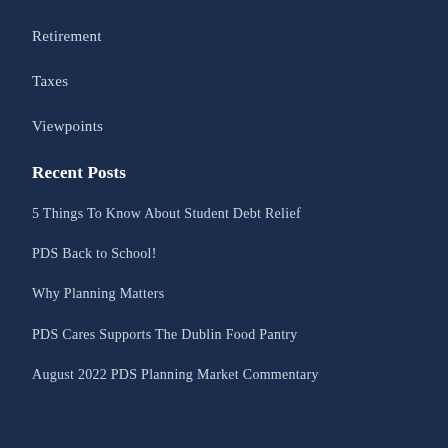Retirement
Taxes
Viewpoints
Recent Posts
5 Things To Know About Student Debt Relief
PDS Back to School!
Why Planning Matters
PDS Cares Supports The Dublin Food Pantry
August 2022 PDS Planning Market Commentary